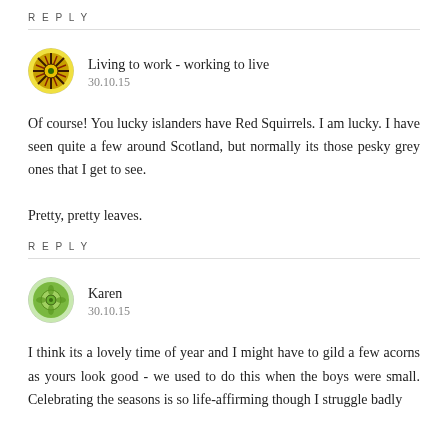REPLY
[Figure (illustration): Circular avatar with colorful sunburst/mandala pattern in yellow, green, red, black]
Living to work - working to live
30.10.15
Of course! You lucky islanders have Red Squirrels. I am lucky. I have seen quite a few around Scotland, but normally its those pesky grey ones that I get to see.

Pretty, pretty leaves.
REPLY
[Figure (illustration): Circular avatar with green mandala/kiwi pattern]
Karen
30.10.15
I think its a lovely time of year and I might have to gild a few acorns as yours look good - we used to do this when the boys were small. Celebrating the seasons is so life-affirming though I struggle badly